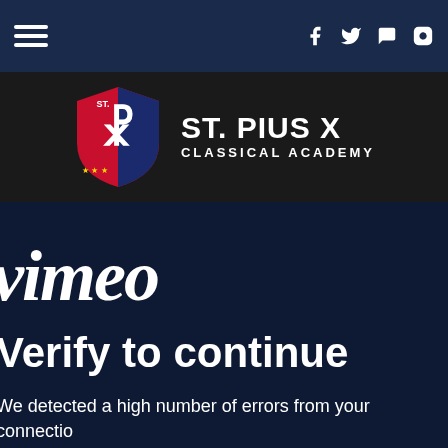Navigation bar with hamburger menu and social icons (Facebook, Twitter, chat, Instagram)
[Figure (logo): St. Pius X Classical Academy shield logo with red and blue design, chi-rho symbol, gold stars, next to text ST. PIUS X CLASSICAL ACADEMY]
vimeo
Verify to continue
We detected a high number of errors from your connection to confirm that youâ€™re a human (and not a spambot).